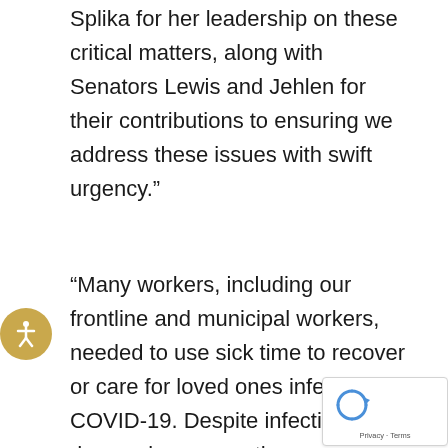Splika for her leadership on these critical matters, along with Senators Lewis and Jehlen for their contributions to ensuring we address these issues with swift urgency.”
“Many workers, including our frontline and municipal workers, needed to use sick time to recover or care for loved ones infected by COVID-19. Despite infections decreasing across the Commonwealth, we are just getting started on a long road to recovery,” said Senator Joan B. Lovely (D-Salem). “I am pleased to work alongside the Administration and my legislative colleagues on this bill that would take steps to provide relief to our businesses and workforce